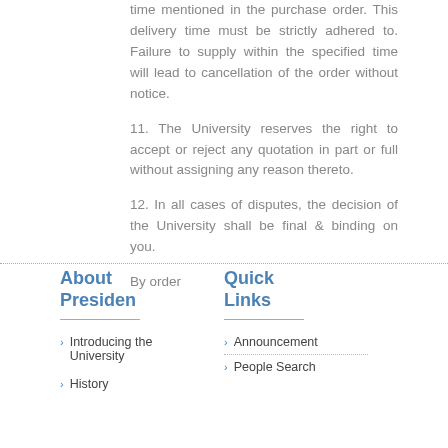time mentioned in the purchase order. This delivery time must be strictly adhered to. Failure to supply within the specified time will lead to cancellation of the order without notice.
11. The University reserves the right to accept or reject any quotation in part or full without assigning any reason thereto.
12. In all cases of disputes, the decision of the University shall be final & binding on you.
By order
About President
Introducing the University
History
Quick Links
Announcement
People Search